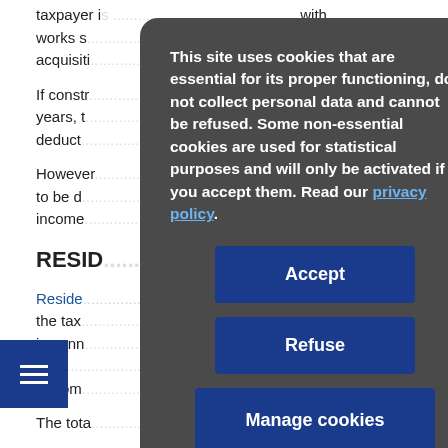taxpayer is ... with works s... e acquisiti...
If const... n 2 years, t... not tax deduct...
However... of land to be d... income...
RESID...
Reside... claim the tax ... income in conn... or road... ova... or com...
The tota... e
[Figure (screenshot): Cookie consent overlay with dark grey rounded rectangle containing cookie policy text and three buttons: Accept, Refuse, Manage cookies. Background shows partially visible government web page content about tax deductions.]